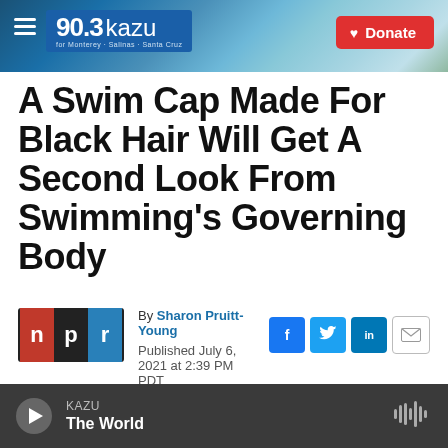[Figure (screenshot): KAZU 90.3 radio station website header with logo, coastal background image, and red Donate button]
A Swim Cap Made For Black Hair Will Get A Second Look From Swimming's Governing Body
[Figure (logo): NPR logo with red N, white P, blue R on dark background]
By Sharon Pruitt-Young
Published July 6, 2021 at 2:39 PM PDT
[Figure (infographic): Social share buttons: Facebook, Twitter, LinkedIn, Email]
KAZU The World